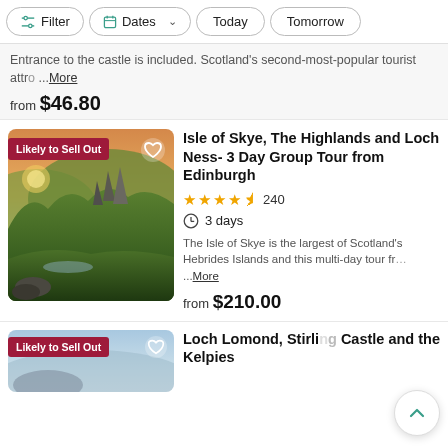Filter | Dates | Today | Tomorrow
Entrance to the castle is included. Scotland's second-most-popular tourist attr ... ...More
from $46.80
[Figure (photo): Scenic landscape photo of Isle of Skye with rocky pinnacles, green hills, and dramatic sky at sunset]
Isle of Skye, The Highlands and Loch Ness- 3 Day Group Tour from Edinburgh
4.5 stars, 240 reviews
3 days
The Isle of Skye is the largest of Scotland's Hebrides Islands and this multi-day tour fr ... ...More
from $210.00
[Figure (photo): Partial photo of Loch Lomond area with castle and Kelpies]
Loch Lomond, Stirling Castle and the Kelpies